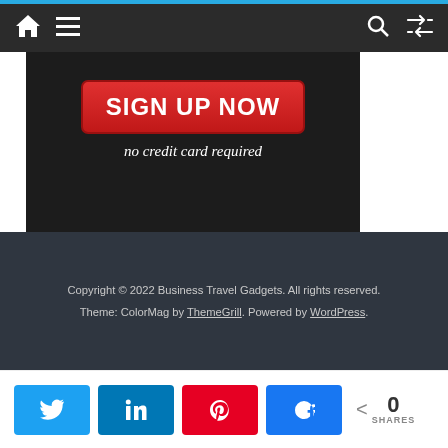Navigation bar with home, menu, search, and shuffle icons
[Figure (screenshot): Advertisement banner on dark background: 'SIGN UP NOW' red button, 'no credit card required' italic text, 'learn. network. build. succeed.' tagline at bottom]
Copyright © 2022 Business Travel Gadgets. All rights reserved. Theme: ColorMag by ThemeGrill. Powered by WordPress.
SHARES 0